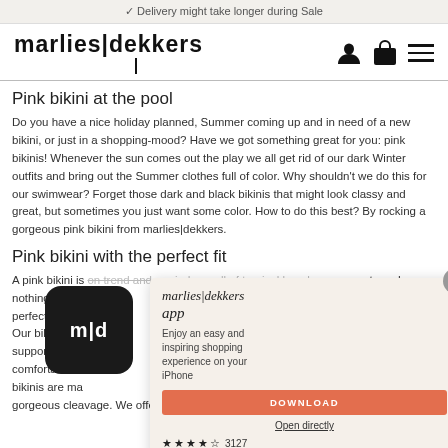✓ Delivery might take longer during Sale
[Figure (logo): marlies|dekkers logo with vertical pipe separator and underline, plus user icon, bag icon, and hamburger menu icons]
Pink bikini at the pool
Do you have a nice holiday planned, Summer coming up and in need of a new bikini, or just in a shopping-mood? Have we got something great for you: pink bikinis! Whenever the sun comes out the play we all get rid of our dark Winter outfits and bring out the Summer clothes full of color. Why shouldn't we do this for our swimwear? Forget those dark and black bikinis that might look classy and great, but sometimes you just want some color. How to do this best? By rocking a gorgeous pink bikini from marlies|dekkers.
Pink bikini with the perfect fit
A pink bikini is on trend and reminds us all of tropical beaches, coconuts and nothing on ou offer you the perfect fit you r swimwear. Our bikinis are rise on support just b st as comfortable a tops. Our bikinis are ma and a gorgeous cleavage. We offer a wide range of shapes to make sure you will be able
[Figure (screenshot): marlies|dekkers app popup with app icon (m|d logo on dark background), app name in italic script, description text 'Enjoy an easy and inspiring shopping experience on your iPhone', DOWNLOAD button in orange-red, Open directly link, and star rating 3127]